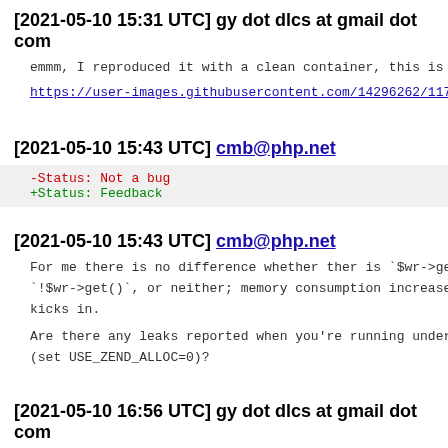[2021-05-10 15:31 UTC] gy dot dlcs at gmail dot com
emmm, I reproduced it with a clean container, this is th
https://user-images.githubusercontent.com/14296262/1176
[2021-05-10 15:43 UTC] cmb@php.net
-Status: Not a bug
+Status: Feedback
[2021-05-10 15:43 UTC] cmb@php.net
For me there is no difference whether ther is `$wr->get
`!$wr->get()`, or neither; memory consumption increases
kicks in.
Are there any leaks reported when you're running under 
(set USE_ZEND_ALLOC=0)?
[2021-05-10 16:56 UTC] gy dot dlcs at gmail dot com
I create a clean VM on Digitalocean, and reproduced it,